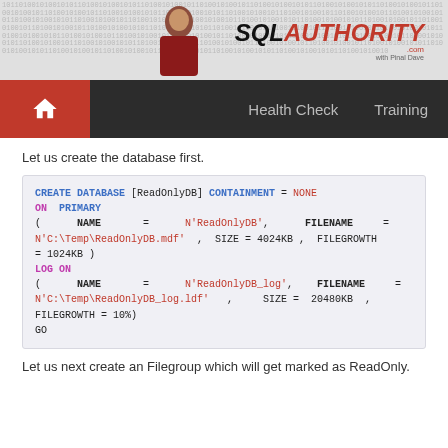[Figure (logo): SQL Authority website header banner with logo and person photo]
Health Check   Training
Let us create the database first.
CREATE DATABASE [ReadOnlyDB] CONTAINMENT = NONE
ON  PRIMARY
(      NAME       =      N'ReadOnlyDB',      FILENAME =
N'C:\Temp\ReadOnlyDB.mdf'  ,  SIZE = 4024KB ,  FILEGROWTH
= 1024KB )
LOG ON
(      NAME       =      N'ReadOnlyDB_log',   FILENAME =
N'C:\Temp\ReadOnlyDB_log.ldf'   ,    SIZE =  20480KB  ,
FILEGROWTH = 10%)
GO
Let us next create an Filegroup which will get marked as ReadOnly.